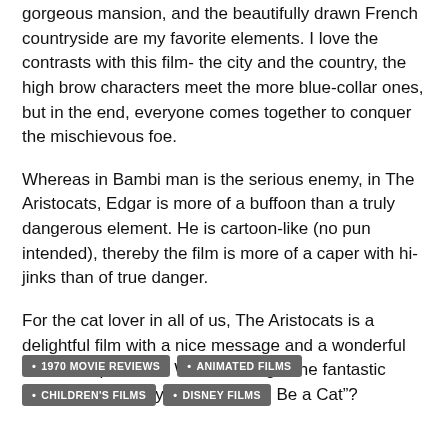gorgeous mansion, and the beautifully drawn French countryside are my favorite elements. I love the contrasts with this film- the city and the country, the high brow characters meet the more blue-collar ones, but in the end, everyone comes together to conquer the mischievous foe.
Whereas in Bambi man is the serious enemy, in The Aristocats, Edgar is more of a buffoon than a truly dangerous element. He is cartoon-like (no pun intended), thereby the film is more of a caper with hi-jinks than of true danger.
For the cat lover in all of us, The Aristocats is a delightful film with a nice message and a wonderful cultural experience. Who can forget the fantastic theme song, “Ev’rybody Wants to Be a Cat”?
1970 MOVIE REVIEWS
ANIMATED FILMS
CHILDREN'S FILMS
DISNEY FILMS